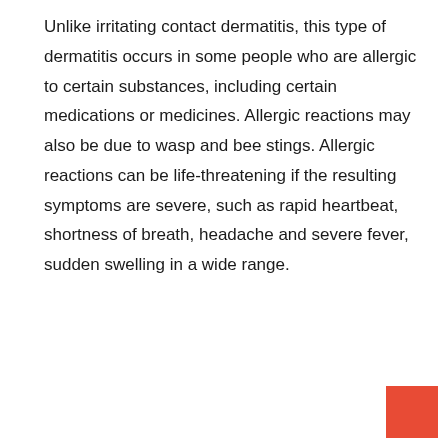Unlike irritating contact dermatitis, this type of dermatitis occurs in some people who are allergic to certain substances, including certain medications or medicines. Allergic reactions may also be due to wasp and bee stings. Allergic reactions can be life-threatening if the resulting symptoms are severe, such as rapid heartbeat, shortness of breath, headache and severe fever, sudden swelling in a wide range.
[Figure (other): A red/orange square button or UI element in the bottom-right corner of the page.]